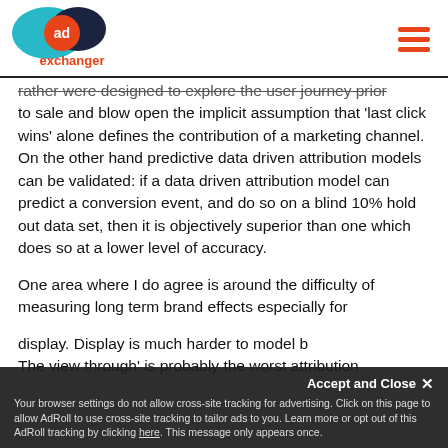AdExchanger
rather were designed to explore the user journey prior to sale and blow open the implicit assumption that 'last click wins' alone defines the contribution of a marketing channel. On the other hand predictive data driven attribution models can be validated: if a data driven attribution model can predict a conversion event, and do so on a blind 10% hold out data set, then it is objectively superior than one which does so at a lower level of accuracy.
One area where I do agree is around the difficulty of measuring long term brand effects especially for display. Display is much harder to model b...
The view through' is probably the worst attribution
Accept and Close ×
Your browser settings do not allow cross-site tracking for advertising. Click on this page to allow AdRoll to use cross-site tracking to tailor ads to you. Learn more or opt out of this AdRoll tracking by clicking here. This message only appears once.